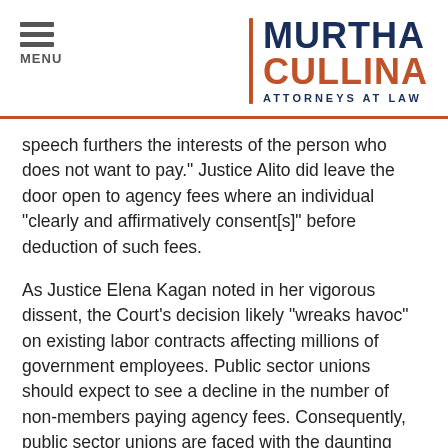[Figure (logo): Murtha Cullina Attorneys at Law logo with orange vertical bar, dark navy MURTHA text, orange CULLINA text, and ATTORNEYS AT LAW subtitle]
speech furthers the interests of the person who does not want to pay." Justice Alito did leave the door open to agency fees where an individual "clearly and affirmatively consent[s]" before deduction of such fees.
As Justice Elena Kagan noted in her vigorous dissent, the Court's decision likely "wreaks havoc" on existing labor contracts affecting millions of government employees. Public sector unions should expect to see a decline in the number of non-members paying agency fees. Consequently, public sector unions are faced with the daunting task of making necessary adjustments to attract